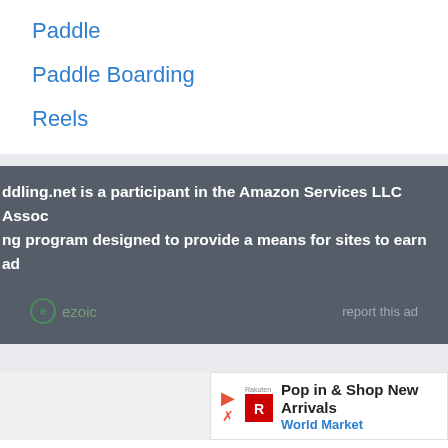Paddle
Paddle Boarding
Reels
ddling.net is a participant in the Amazon Services LLC Assoc ng program designed to provide a means for sites to earn ad linking to Amazon.com. Amazon, the Amazon logo, Amazon onSupply logo are trademarks of Amazon.com, Inc. or its affi
[Figure (logo): Ezoic logo and 'report this ad' text in dark footer bar]
[Figure (screenshot): Ad banner: 'Pop in & Shop New Arrivals' from World Market with Rakuten logo and play/close icons]